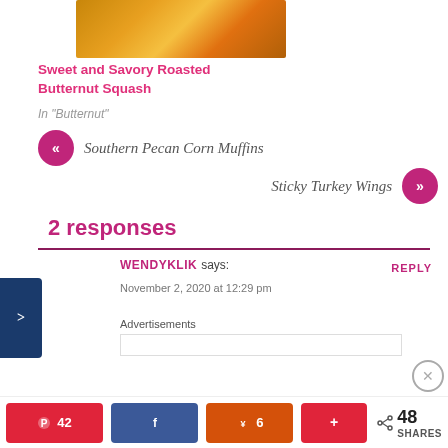[Figure (photo): Food photo of roasted butternut squash on a dark plate]
Sweet and Savory Roasted Butternut Squash
In "Butternut"
« Southern Pecan Corn Muffins
Sticky Turkey Wings »
2 responses
WENDYKLIK says:
REPLY
November 2, 2020 at 12:29 pm
Advertisements
42  48 SHARES